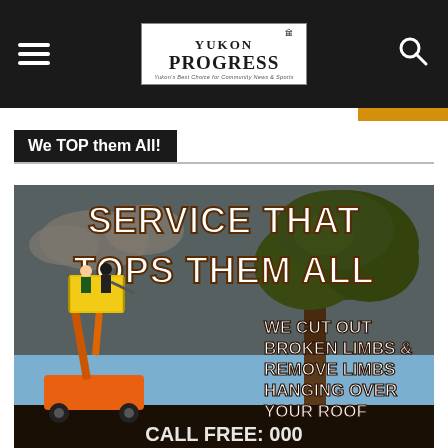Yukon Progress — Yukon's Best Choice for Community News & Sports
We TOP them All!
[Figure (photo): Advertisement for a tree service company. Large bold white text on dark brown/tree background reads 'SERVICE THAT TOPS THEM ALL' at top, and 'WE CUT OUT BROKEN LIMBS & REMOVE LIMBS HANGING OVER YOUR ROOF' on the right side. Left side shows a yellow boom lift/cherry picker with two workers trimming a large oak tree. Bottom text partially visible.]